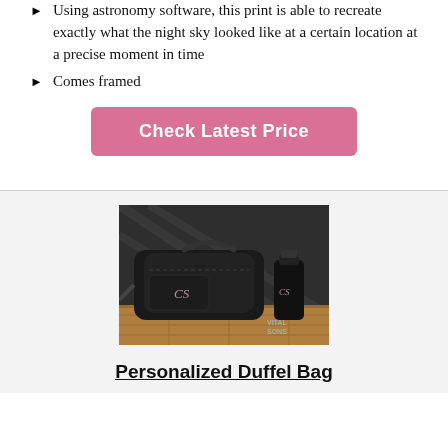Using astronomy software, this print is able to recreate exactly what the night sky looked like at a certain location at a precise moment in time
Comes framed
Check Latest Price
[Figure (photo): A personalized black duffel bag and black water bottle with monogram initials 'CS', placed on a wooden surface against a dark background. Watermark reads 'VITAL SONS'.]
Personalized Duffel Bag